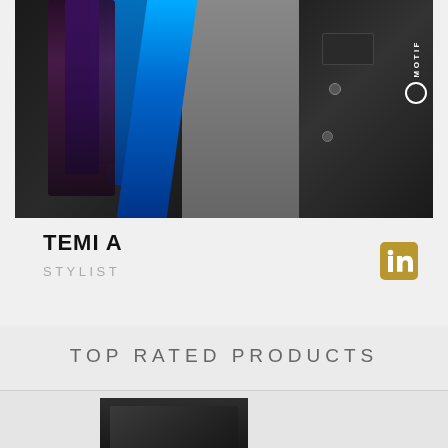[Figure (photo): Portrait photo of Temi A, a stylist, wearing a black denim jacket and gray top, with braided hair featuring blue highlights. A circular Motif logo watermark appears on the right side.]
TEMI A
STYLIST
[Figure (logo): LinkedIn logo icon in gold/tan color]
TOP RATED PRODUCTS
[Figure (photo): Partial view of a dark/black product box at the bottom of the page]